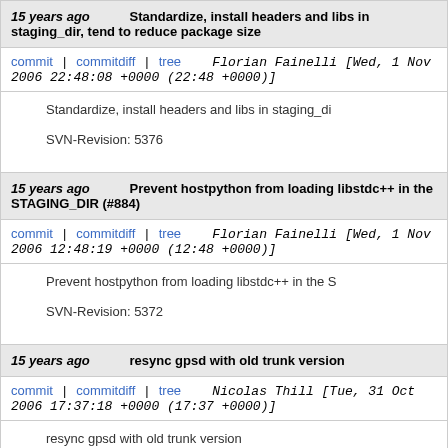15 years ago   Standardize, install headers and libs in staging_dir, tend to reduce package size
commit | commitdiff | tree   Florian Fainelli [Wed, 1 Nov 2006 22:48:08 +0000 (22:48 +0000)]
Standardize, install headers and libs in staging_di

SVN-Revision: 5376
15 years ago   Prevent hostpython from loading libstdc++ in the STAGING_DIR (#884)
commit | commitdiff | tree   Florian Fainelli [Wed, 1 Nov 2006 12:48:19 +0000 (12:48 +0000)]
Prevent hostpython from loading libstdc++ in the S

SVN-Revision: 5372
15 years ago   resync gpsd with old trunk version
commit | commitdiff | tree   Nicolas Thill [Tue, 31 Oct 2006 17:37:18 +0000 (17:37 +0000)]
resync gpsd with old trunk version